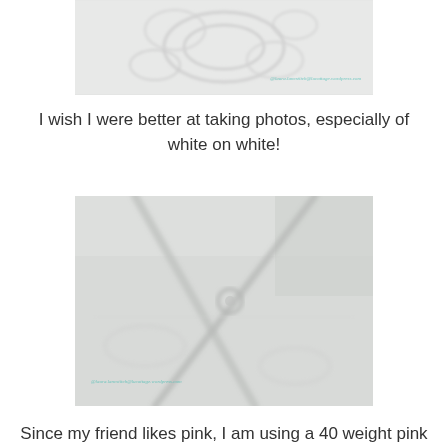[Figure (photo): Close-up photo of white-on-white embroidered or quilted fabric with floral pattern, watermark text visible]
I wish I were better at taking photos, especially of white on white!
[Figure (photo): Close-up photo of white fabric showing stitched or quilted cross/dragonfly pattern on white textured background, watermark text visible]
Since my friend likes pink, I am using a 40 weight pink